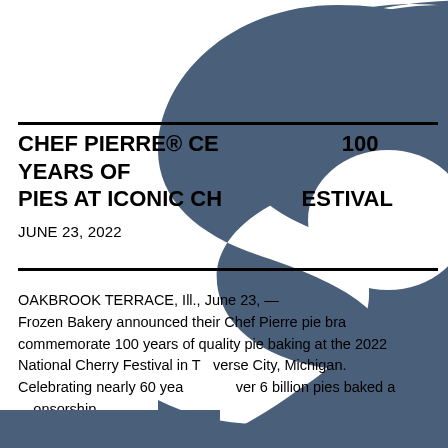[Figure (logo): Large decorative blue S-shaped logo watermark in the background, occupying the upper-right portion of the page]
CHEF PIERRE® CELEBRATES 100 YEARS OF PIES AT ICONIC CHERRY FESTIVAL
JUNE 23, 2022
OAKBROOK TERRACE, Ill., June 23, — Frozen Bakery announced their Chef Pierre pie brand to commemorate 100 years of quality pie baking at the 2022 National Cherry Festival in Traverse City, Michigan. Celebrating nearly 60 years and over 6 billion pies baked and sponsorship